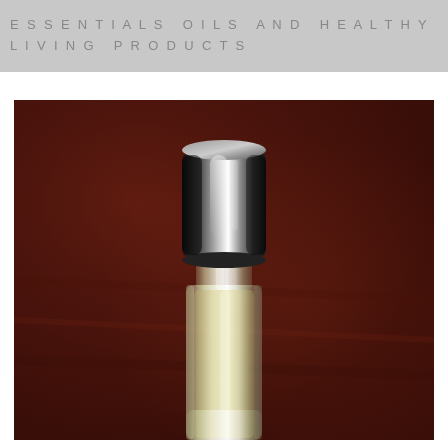ESSENTIALS OILS AND HEALTHY LIVING PRODUCTS
[Figure (photo): Close-up photo of a glass roller bottle with a black metallic cap, containing clear/pale yellow liquid oil, photographed against a dark reddish-brown leather or suede background.]